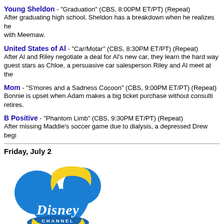Young Sheldon - "Graduation" (CBS, 8:00PM ET/PT) (Repeat)
After graduating high school, Sheldon has a breakdown when he realizes he with Meemaw.
United States of Al - "Car/Motar" (CBS, 8:30PM ET/PT) (Repeat)
After Al and Riley negotiate a deal for Al's new car, they learn the hard way guest stars as Chloe, a persuasive car salesperson Riley and Al meet at the
Mom - "S'mores and a Sadness Cocoon" (CBS, 9:00PM ET/PT) (Repeat)
Bonnie is upset when Adam makes a big ticket purchase without consulti retires.
B Positive - "Phantom Limb" (CBS, 9:30PM ET/PT) (Repeat)
After missing Maddie's soccer game due to dialysis, a depressed Drew begi
Friday, July 2
[Figure (logo): Disney Channel logo - blue Mickey Mouse ears hat shape with yellow section, white Disney Channel text]
Bunk'd - "Crushin' It" (Disney Channel, 8:00PM ET/PT)
Siblings Emma, Ravi and Zuri Ross spend summer at Camp Kikiwaka